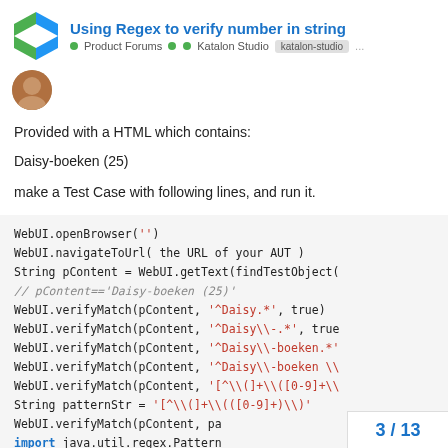Using Regex to verify number in string — Product Forums • Katalon Studio katalon-studio ...
Provided with a HTML which contains:
Daisy-boeken (25)
make a Test Case with following lines, and run it.
[Figure (screenshot): Code block showing Katalon Studio WebUI test case using regex to verify number in string. Code includes WebUI.openBrowser(''), WebUI.navigateToUrl, String pContent = WebUI.getText(findTestObject(...)), comment // pContent=='Daisy-boeken (25)', multiple WebUI.verifyMatch calls with regex patterns, String patternStr, and import java.util.regex.Pattern]
3 / 13